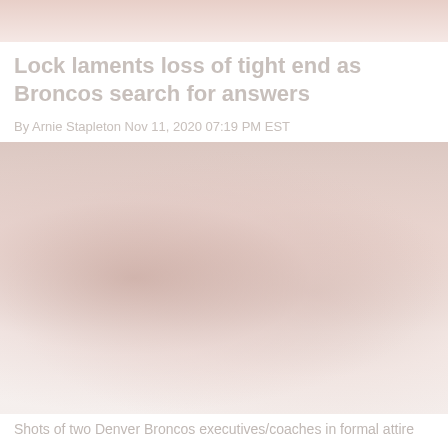[Figure (photo): Faded/washed-out photo at the top of the page, appears to show people in sports context (Broncos related)]
Lock laments loss of tight end as Broncos search for answers
By Arnie Stapleton Nov 11, 2020 07:19 PM EST
[Figure (photo): Faded/washed-out photo of two men in suits, appearing to be Denver Broncos executives or coaches, standing side by side]
Shots of two Denver Broncos executives/coaches in formal attire